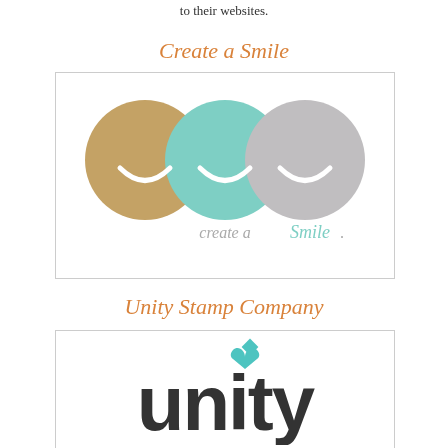to their websites.
Create a Smile
[Figure (logo): Create a Smile logo: three overlapping circles in tan/brown, mint green, and light gray, each with a small white smile curve inside, with text 'create a Smile.' below in mint/gray script]
Unity Stamp Company
[Figure (logo): Unity Stamp Company logo: the word 'unity' in large bold dark gray lowercase letters with a teal heart above the letter 'i']